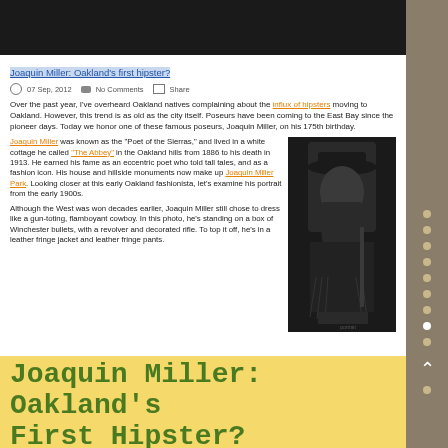[Figure (screenshot): Screenshot of a blog article about Joaquin Miller being Oakland's first hipster, showing article title, metadata, body text with photo of Joaquin Miller in cowboy attire]
Joaquin Miller: Oakland's First Hipster?
Over the past year, I've overheard Oakland natives complaining about the influx of hipsters moving to Oakland. However, this trend is as old as the city itself. Poseurs have been coming to the East Bay